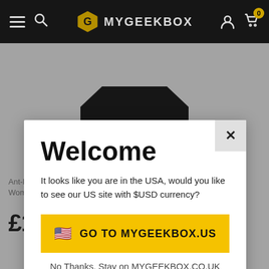MYGEEKBOX navigation bar
[Figure (screenshot): MyGeekBox website product page showing a black t-shirt with grey background]
Welcome
It looks like you are in the USA, would you like to see our US site with $USD currency?
GO TO MYGEEKBOX.US
No Thanks, Stay on MYGEEKBOX.CO.UK
Ant-Man And The Wasp Scott Musk Womens T Shirt - Black
£14.99